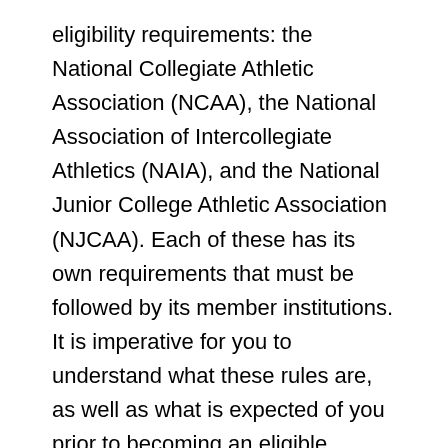eligibility requirements: the National Collegiate Athletic Association (NCAA), the National Association of Intercollegiate Athletics (NAIA), and the National Junior College Athletic Association (NJCAA). Each of these has its own requirements that must be followed by its member institutions. It is imperative for you to understand what these rules are, as well as what is expected of you prior to becoming an eligible student-athlete at the collegiate level.
Listed below are a few important factors to keep in mind when familiarizing yourself with initial-eligibility requirements: